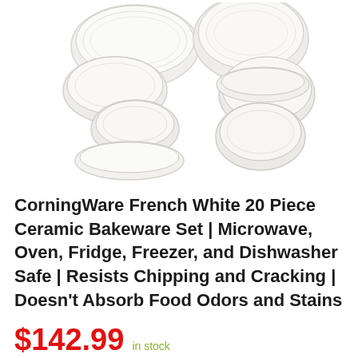[Figure (photo): CorningWare French White ceramic bakeware set with multiple white bowls and oval dishes with lids arranged in two groups]
CorningWare French White 20 Piece Ceramic Bakeware Set | Microwave, Oven, Fridge, Freezer, and Dishwasher Safe | Resists Chipping and Cracking | Doesn't Absorb Food Odors and Stains
$142.99 in stock
Save from $148.99